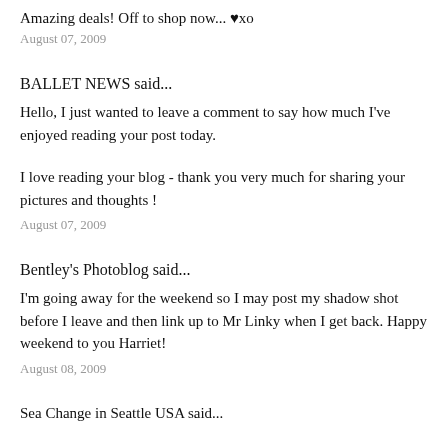Amazing deals! Off to shop now... ♥xo
August 07, 2009
BALLET NEWS said...
Hello, I just wanted to leave a comment to say how much I've enjoyed reading your post today.
I love reading your blog - thank you very much for sharing your pictures and thoughts !
August 07, 2009
Bentley's Photoblog said...
I'm going away for the weekend so I may post my shadow shot before I leave and then link up to Mr Linky when I get back. Happy weekend to you Harriet!
August 08, 2009
Sea Change in Seattle USA said...